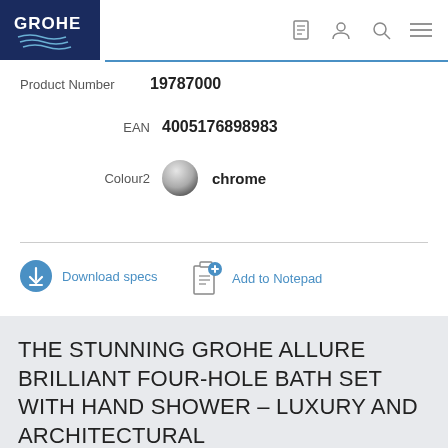[Figure (logo): GROHE logo on dark navy blue background with wave lines below]
Product Number
19787000
EAN
4005176898983
Colour2
chrome
Download specs
Add to Notepad
THE STUNNING GROHE ALLURE BRILLIANT FOUR-HOLE BATH SET WITH HAND SHOWER – LUXURY AND ARCHITECTURAL